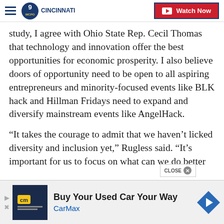WCPO 9 CINCINNATI | Watch Now
study, I agree with Ohio State Rep. Cecil Thomas that technology and innovation offer the best opportunities for economic prosperity. I also believe doors of opportunity need to be open to all aspiring entrepreneurs and minority-focused events like BLK hack and Hillman Fridays need to expand and diversify mainstream events like AngelHack.
“It takes the courage to admit that we haven’t licked diversity and inclusion yet,” Rugless said. “It’s important for us to focus on what can we do better
[Figure (screenshot): CarMax advertisement banner: 'Buy Your Used Car Your Way' with CarMax logo and navigation icon]